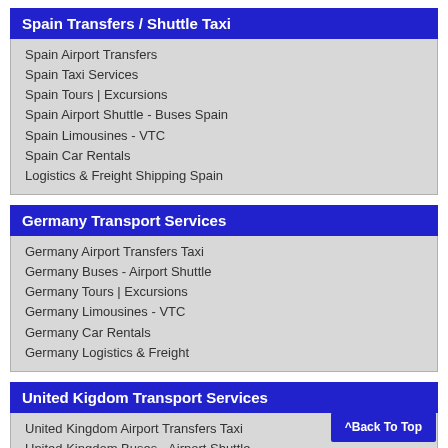Spain Transfers / Shuttle Taxi
Spain Airport Transfers
Spain Taxi Services
Spain Tours | Excursions
Spain Airport Shuttle - Buses Spain
Spain Limousines - VTC
Spain Car Rentals
Logistics & Freight Shipping Spain
Germany Transport Services
Germany Airport Transfers Taxi
Germany Buses - Airport Shuttle
Germany Tours | Excursions
Germany Limousines - VTC
Germany Car Rentals
Germany Logistics & Freight
United Kigdom Transport Services
United Kingdom Airport Transfers Taxi
United Kingdom Buses - Airport Shuttle
United Kingdom Tours | Excursions
United Kingdom Limousines - VTC
United Kingdom Car Rentals
Logistics & Freight United Kingdom
^Back To Top